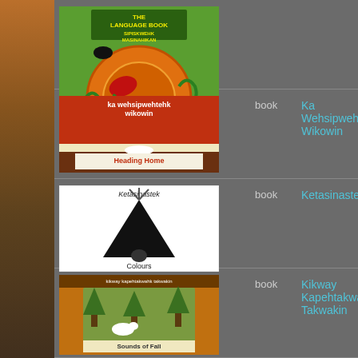[Figure (photo): Book cover: The Language Book Sipiskwehk Masinahikan, featuring a colorful circular design with Indigenous artwork on green background]
[Figure (photo): Book cover: Ka Wehsipwehtehk Wikowin / Heading Home, showing a sunset landscape with red sky]
book
Ka Wehsipwehtehk Wikowin
[Figure (photo): Book cover: Ketasinastek / Colours, showing a black teepee silhouette on white background]
book
Ketasinastek
[Figure (photo): Book cover: Kikway Kapehtakwahk Takwakin / Sounds of Fall, showing autumn nature scene with animals]
book
Kikway Kapehtakwahk Takwakin